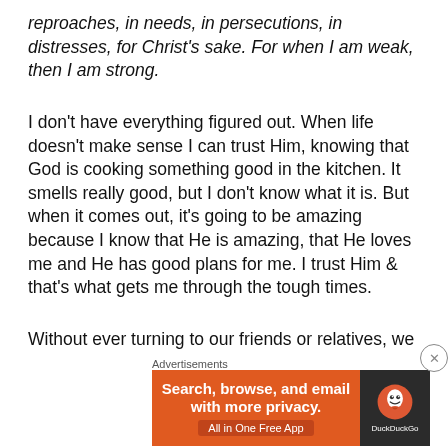reproaches, in needs, in persecutions, in distresses, for Christ's sake. For when I am weak, then I am strong.
I don't have everything figured out. When life doesn't make sense I can trust Him, knowing that God is cooking something good in the kitchen. It smells really good, but I don't know what it is. But when it comes out, it's going to be amazing because I know that He is amazing, that He loves me and He has good plans for me. I trust Him & that's what gets me through the tough times.
Without ever turning to our friends or relatives, we would have no relationship. In the same sense, without ever turning to God, we would have no relationship. The more
Advertisements
[Figure (infographic): DuckDuckGo advertisement banner: orange background with text 'Search, browse, and email with more privacy. All in One Free App' and DuckDuckGo logo on dark background.]